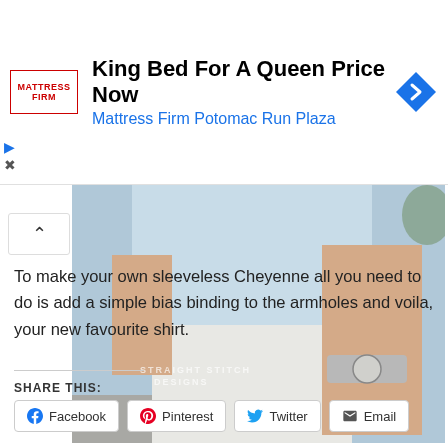[Figure (screenshot): Advertisement banner for Mattress Firm with logo, headline 'King Bed For A Queen Price Now', subtitle 'Mattress Firm Potomac Run Plaza', and a blue diamond navigation arrow icon]
[Figure (photo): Cropped photo of a person wearing a light blue sleeveless shirt and white shorts, with a silver watch on their wrist. Watermark reads 'STRAIGHT STITCH DESIGNS']
To make your own sleeveless Cheyenne all you need to do is add a simple bias binding to the armholes and voila, your new favourite shirt.
SHARE THIS:
Facebook   Pinterest   Twitter   Email